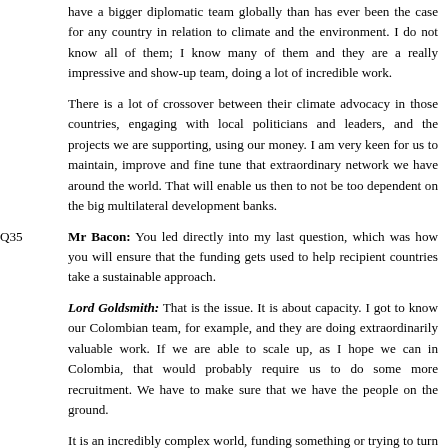have a bigger diplomatic team globally than has ever been the case for any country in relation to climate and the environment. I do not know all of them; I know many of them and they are a really impressive and show-up team, doing a lot of incredible work.
There is a lot of crossover between their climate advocacy in those countries, engaging with local politicians and leaders, and the projects we are supporting, using our money. I am very keen for us to maintain, improve and fine tune that extraordinary network we have around the world. That will enable us then to not be too dependent on the big multilateral development banks.
Q35    Mr Bacon: You led directly into my last question, which was how you will ensure that the funding gets used to help recipient countries take a sustainable approach.
Lord Goldsmith: That is the issue. It is about capacity. I got to know our Colombian team, for example, and they are doing extraordinarily valuable work. If we are able to scale up, as I hope we can in Colombia, that would probably require us to do some more recruitment. We have to make sure that we have the people on the ground.
It is an incredibly complex world, funding something or trying to turn around what is effectively a giant tanker that has been going in the same direction for decades. It is not that you can just push a button here or write a cheque there. It requires a